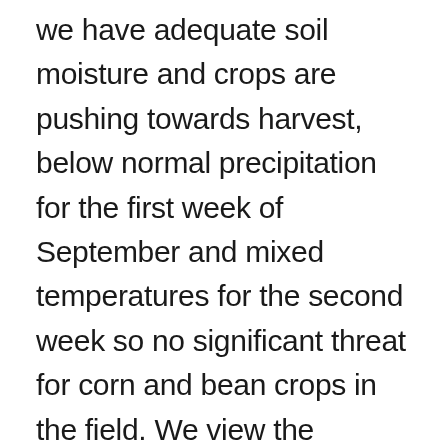we have adequate soil moisture and crops are pushing towards harvest, below normal precipitation for the first week of September and mixed temperatures for the second week so no significant threat for corn and bean crops in the field. We view the weather forecast at this time as non-threatening as there is no frost in the forecast for the next two weeks. We view that as lightly bearish for grain